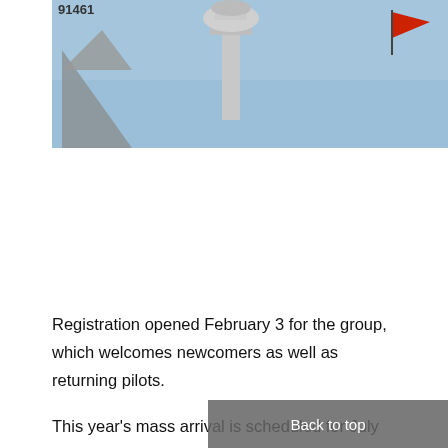[Figure (photo): Aircraft tail with registration number 91461 visible, control tower in background, red flag on right side, blue sky.]
Registration opened February 3 for the group, which welcomes newcomers as well as returning pilots.
This year's mass arrival is scheduled for July 23. The group, which will launch from Central Wisconsin Airport, joins other mass arrivals, including Cessnas, Bonanzas, and Ercoupes. All can bypass the Fisk Arrival to Wittman Regional Airport because they work with the FAA in advance to obtain cleared airspace for a scheduled arrival time. Participants maintain it's the best way to get to the show.
"For the uninitiated, it is actually a very safe and simple way to arrive and provides the added benefit that you get to camp [at AirVenture]... — said Clar... to Oshk...